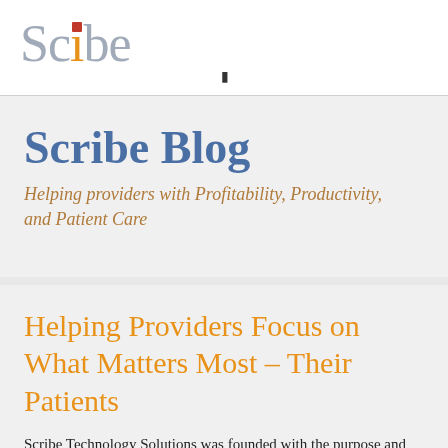[Figure (logo): Scribe logo with stylized text: 'Sc', orange 'i', 'be' in light blue-gray, with red square dot above the i and a cursor symbol below]
Scribe Blog
Helping providers with Profitability, Productivity, and Patient Care
Helping Providers Focus on What Matters Most – Their Patients
Scribe Technology Solutions was founded with the purpose and